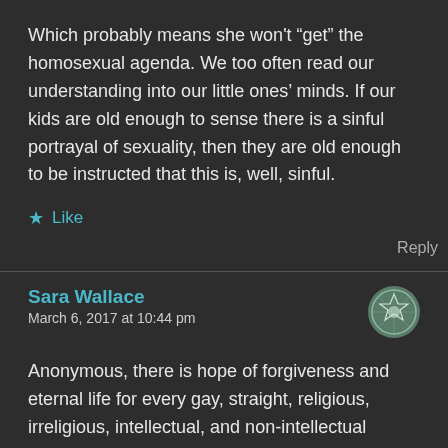Which probably means she won't “get” the homosexual agenda. We too often read our understanding into our little ones’ minds. If our kids are old enough to sense there is a sinful portrayal of sexuality, then they are old enough to be instructed that this is, well, sinful.
★ Like
Reply
Sara Wallace
March 6, 2017 at 10:44 pm
Anonymous, there is hope of forgiveness and eternal life for every gay, straight, religious, irreligious, intellectual, and non-intellectual person who calls on Jesus for